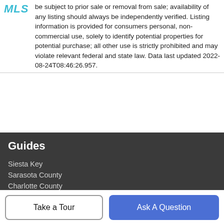be subject to prior sale or removal from sale; availability of any listing should always be independently verified. Listing information is provided for consumers personal, non-commercial use, solely to identify potential properties for potential purchase; all other use is strictly prohibited and may violate relevant federal and state law. Data last updated 2022-08-24T08:46:26.957.
Guides
Siesta Key
Sarasota County
Charlotte County
Bradenton
Lakewood Ranch
More Guides >
Take a Tour
Ask A Question